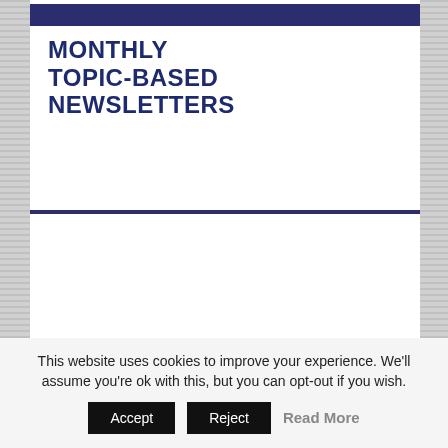MONTHLY TOPIC-BASED NEWSLETTERS
This website uses cookies to improve your experience. We'll assume you're ok with this, but you can opt-out if you wish.
Accept | Reject | Read More